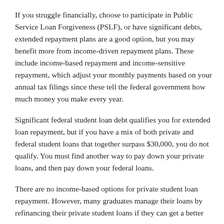If you struggle financially, choose to participate in Public Service Loan Forgiveness (PSLF), or have significant debts, extended repayment plans are a good option, but you may benefit more from income-driven repayment plans. These include income-based repayment and income-sensitive repayment, which adjust your monthly payments based on your annual tax filings since these tell the federal government how much money you make every year.
Significant federal student loan debt qualifies you for extended loan repayment, but if you have a mix of both private and federal student loans that together surpass $30,000, you do not qualify. You must find another way to pay down your private loans, and then pay down your federal loans.
There are no income-based options for private student loan repayment. However, many graduates manage their loans by refinancing their private student loans if they can get a better interest rate, and then paying those off while they get income-